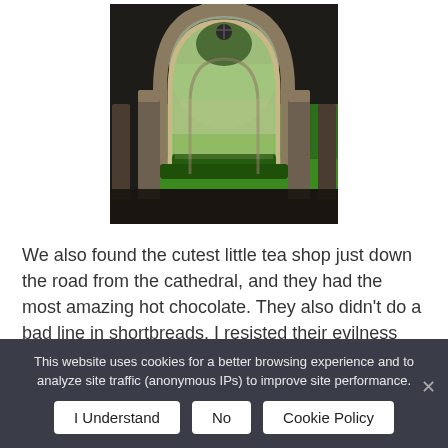[Figure (photo): Cathedral cloister with Gothic arches and columns framing a view of a bright green courtyard lawn, dark stone interior]
We also found the cutest little tea shop just down the road from the cathedral, and they had the most amazing hot chocolate. They also didn't do a bad line in shortbreads. I resisted their evilness because I had the hot chocolate. I shall not be resisting the...
This website uses cookies for a better browsing experience and to analyze site traffic (anonymous IPs) to improve site performance.
I Understand | No | Cookie Policy